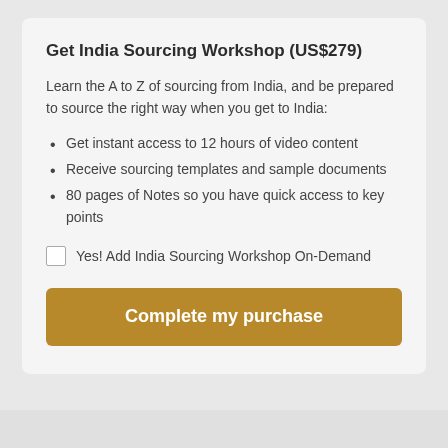Get India Sourcing Workshop (US$279)
Learn the A to Z of sourcing from India, and be prepared to source the right way when you get to India:
Get instant access to 12 hours of video content
Receive sourcing templates and sample documents
80 pages of Notes so you have quick access to key points
Yes! Add India Sourcing Workshop On-Demand
Complete my purchase